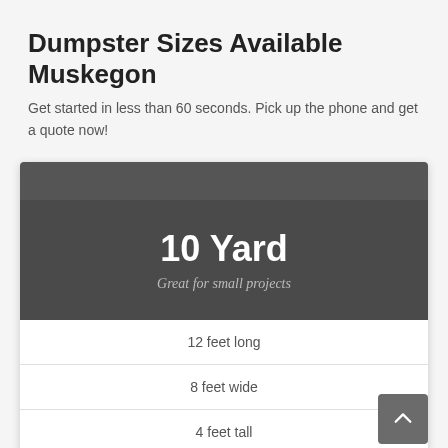Dumpster Sizes Available Muskegon
Get started in less than 60 seconds. Pick up the phone and get a quote now!
[Figure (infographic): Dumpster size card showing 10 Yard dumpster with dark header bar, title '10 Yard', subtitle 'Great for small projects', and three specification rows: 12 feet long, 8 feet wide, 4 feet tall. A grey scroll-to-top button is in the bottom right corner.]